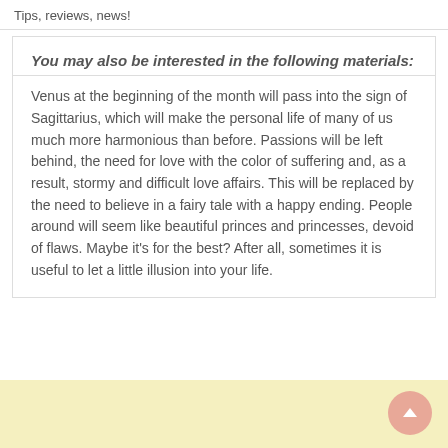Tips, reviews, news!
You may also be interested in the following materials:
Venus at the beginning of the month will pass into the sign of Sagittarius, which will make the personal life of many of us much more harmonious than before. Passions will be left behind, the need for love with the color of suffering and, as a result, stormy and difficult love affairs. This will be replaced by the need to believe in a fairy tale with a happy ending. People around will seem like beautiful princes and princesses, devoid of flaws. Maybe it’s for the best? After all, sometimes it is useful to let a little illusion into your life.